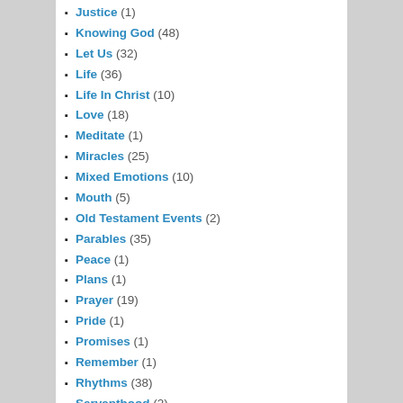Justice (1)
Knowing God (48)
Let Us (32)
Life (36)
Life In Christ (10)
Love (18)
Meditate (1)
Miracles (25)
Mixed Emotions (10)
Mouth (5)
Old Testament Events (2)
Parables (35)
Peace (1)
Plans (1)
Prayer (19)
Pride (1)
Promises (1)
Remember (1)
Rhythms (38)
Servanthood (2)
So That (28)
Speech (1)